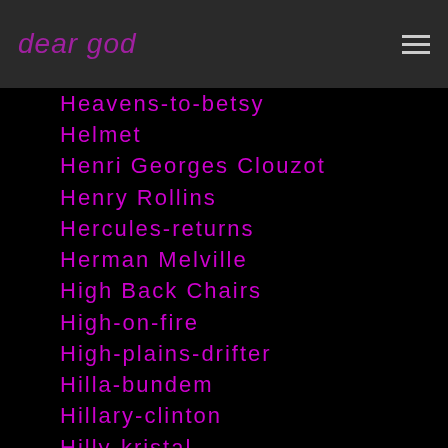dear god
Heavens-to-betsy
Helmet
Henri Georges Clouzot
Henry Rollins
Hercules-returns
Herman Melville
High Back Chairs
High-on-fire
High-plains-drifter
Hilla-bundem
Hillary-clinton
Hilly-kristal
Hinduism
Hipbone-records
Hiphop
Hip Hop
Hippo Campus